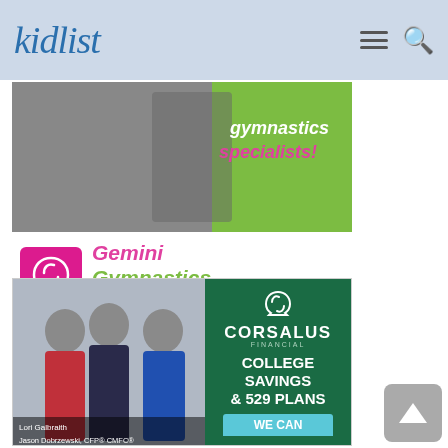kidlist
[Figure (photo): Gemini Gymnastics Academy advertisement with gymnast photo and text 'gymnastics specialists!' over green background, with pink logo box and green/pink italic text branding]
[Figure (photo): Corsalus Financial advertisement with photo of three professionals (Lori Galbraith, Jason Dobrzewski CFP CMFC, and another woman) on left, green panel on right with logo, 'COLLEGE SAVINGS & 529 PLANS' text and 'WE CAN' button]